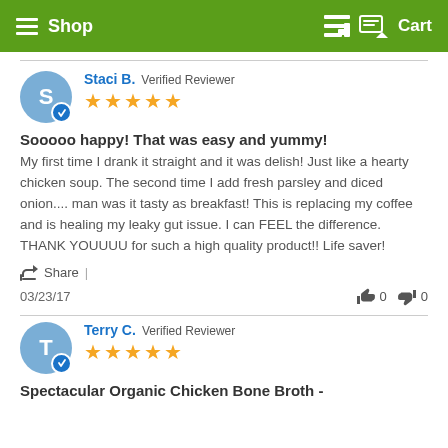Shop | Cart
Staci B. Verified Reviewer — 5 stars
Sooooo happy! That was easy and yummy!
My first time I drank it straight and it was delish! Just like a hearty chicken soup. The second time I add fresh parsley and diced onion.... man was it tasty as breakfast! This is replacing my coffee and is healing my leaky gut issue. I can FEEL the difference. THANK YOUUUU for such a high quality product!! Life saver!
Share |
03/23/17   👍 0   👎 0
Terry C. Verified Reviewer — 5 stars
Spectacular Organic Chicken Bone Broth -